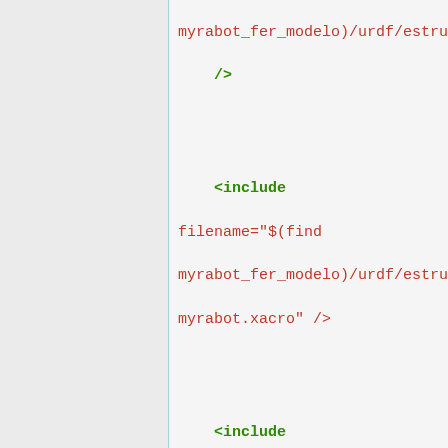myrabot_fer_modelo)/urdf/... />
<include filename="$(find myrabot_fer_modelo)/urdf/estructura_myrabot.xacro" />
<include filename="$(find myrabot_fer_modelo)/urdf/kinect... />
<include filename="$(find brazo_fer_modelo)/urdf/brazo.xa... />
<include filename="$(find myrabot_fer_modelo)/urdf/webcam... />
<roomba />
<estructura_myrabot...